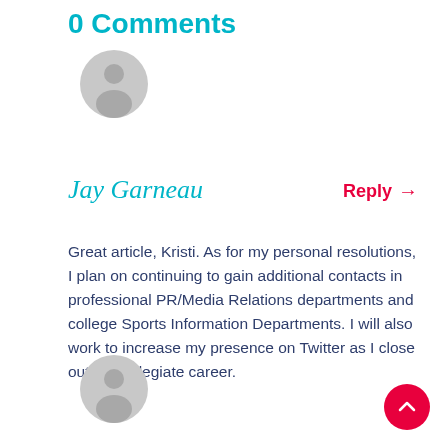0 Comments
[Figure (illustration): Grey circular avatar placeholder with person silhouette (first comment)]
Jay Garneau
Reply →
Great article, Kristi. As for my personal resolutions, I plan on continuing to gain additional contacts in professional PR/Media Relations departments and college Sports Information Departments. I will also work to increase my presence on Twitter as I close out my collegiate career.
[Figure (illustration): Grey circular avatar placeholder with person silhouette (second comment)]